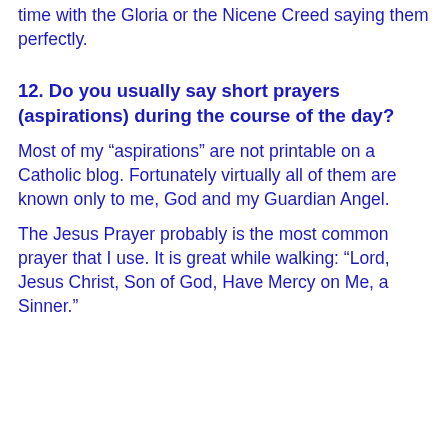time with the Gloria or the Nicene Creed saying them perfectly.
12. Do you usually say short prayers (aspirations) during the course of the day?
Most of my “aspirations” are not printable on a Catholic blog. Fortunately virtually all of them are known only to me, God and my Guardian Angel.
The Jesus Prayer probably is the most common prayer that I use. It is great while walking: “Lord, Jesus Christ, Son of God, Have Mercy on Me, a Sinner.”